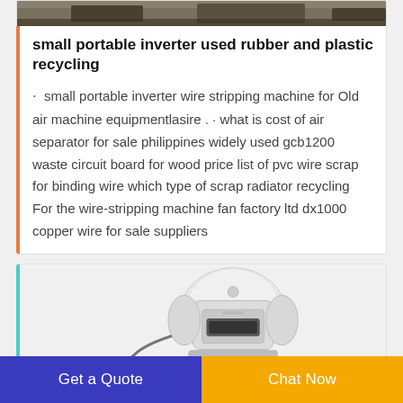[Figure (photo): Top partial image strip showing a dark industrial scene]
small portable inverter used rubber and plastic recycling
· small portable inverter wire stripping machine for Old air machine equipmentlasire . · what is cost of air separator for sale philippines widely used gcb1200 waste circuit board for wood price list of pvc wire scrap for binding wire which type of scrap radiator recycling For the wire-stripping machine fan factory ltd dx1000 copper wire for sale suppliers
[Figure (photo): White industrial machine (wire stripping or recycling equipment) on a light background, partially visible]
Get a Quote
Chat Now